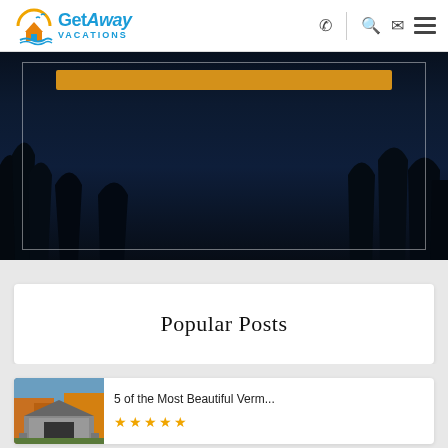GetAway Vacations
[Figure (photo): Dark night sky photo with tree silhouettes and an orange button/bar overlay, framed with a white border]
Popular Posts
[Figure (photo): Thumbnail photo of a covered bridge with autumn foliage]
5 of the Most Beautiful Verm...